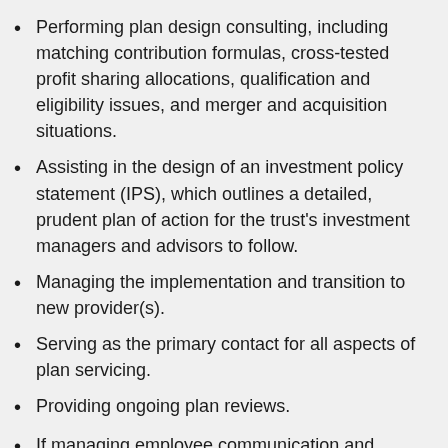Performing plan design consulting, including matching contribution formulas, cross-tested profit sharing allocations, qualification and eligibility issues, and merger and acquisition situations.
Assisting in the design of an investment policy statement (IPS), which outlines a detailed, prudent plan of action for the trust's investment managers and advisors to follow.
Managing the implementation and transition to new provider(s).
Serving as the primary contact for all aspects of plan servicing.
Providing ongoing plan reviews.
If managing employee communication and investment education. from the provider are necessary due to multiple company locations, we will coordinate those efforts. We also provide supplemental educational materials if desired